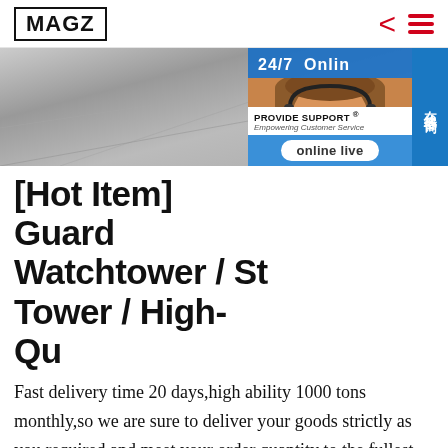MAGZ
[Figure (screenshot): Hero banner image showing a dark industrial/floor surface texture, with a customer support widget overlay on the right side showing '24/7 Online' text, a headset-wearing female support agent photo, 'PROVIDE SUPPORT Empowering Customer Service' branding, and an 'online live' button. A Chinese sidebar badge reads '在线咨询'.]
[Hot Item] Guard Watchtower / St Tower / High-Qu
Fast delivery time 20 days,high ability 1000 tons monthly,so we are sure to deliver your goods strictly as you required and meet your order quantity to the fullest. Hebei eng Yang Steel Structure Co.. is the factory specialized in the steel telecommunication